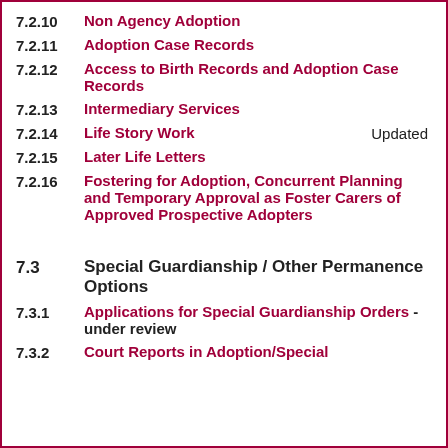7.2.10 Non Agency Adoption
7.2.11 Adoption Case Records
7.2.12 Access to Birth Records and Adoption Case Records
7.2.13 Intermediary Services
7.2.14 Life Story Work Updated
7.2.15 Later Life Letters
7.2.16 Fostering for Adoption, Concurrent Planning and Temporary Approval as Foster Carers of Approved Prospective Adopters
7.3 Special Guardianship / Other Permanence Options
7.3.1 Applications for Special Guardianship Orders - under review
7.3.2 Court Reports in Adoption/Special